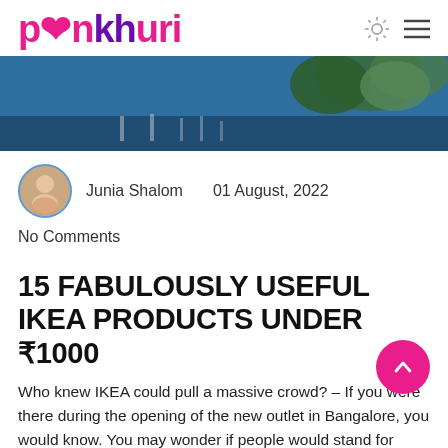pankhuri
[Figure (photo): Hero banner image showing trees and blue sky, partial crop of outdoor scene]
Junia Shalom   01 August, 2022
No Comments
15 FABULOUSLY USEFUL IKEA PRODUCTS UNDER ₹1000
Who knew IKEA could pull a massive crowd? – If you were there during the opening of the new outlet in Bangalore, you would know. You may wonder if people would stand for